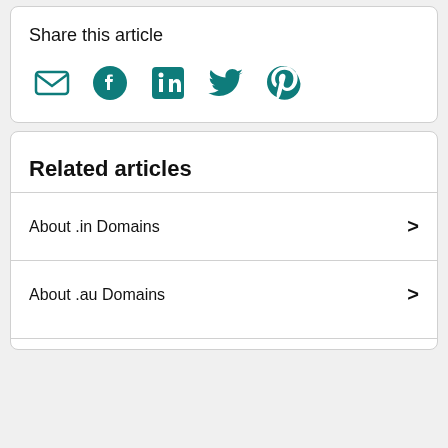Share this article
[Figure (infographic): Social share icons: Email, Facebook, LinkedIn, Twitter, Pinterest — all in teal]
Related articles
About .in Domains
About .au Domains